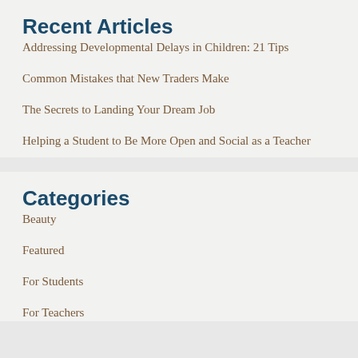Recent Articles
Addressing Developmental Delays in Children: 21 Tips
Common Mistakes that New Traders Make
The Secrets to Landing Your Dream Job
Helping a Student to Be More Open and Social as a Teacher
Categories
Beauty
Featured
For Students
For Teachers